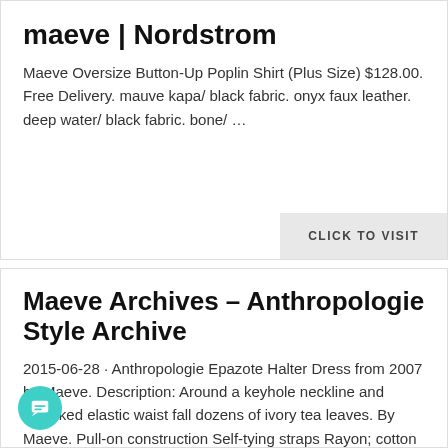maeve | Nordstrom
Maeve Oversize Button-Up Poplin Shirt (Plus Size) $128.00. Free Delivery. mauve kapa/ black fabric. onyx faux leather. deep water/ black fabric. bone/ …
CLICK TO VISIT
Maeve Archives – Anthropologie Style Archive
2015-06-28 · Anthropologie Epazote Halter Dress from 2007 by Maeve. Description: Around a keyhole neckline and smocked elastic waist fall dozens of ivory tea leaves. By Maeve. Pull-on construction Self-tying straps Rayon; cotton lining Hand …